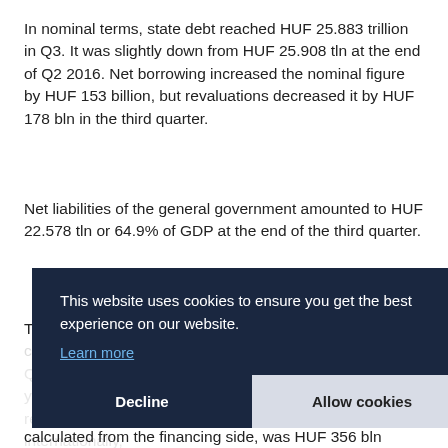In nominal terms, state debt reached HUF 25.883 trillion in Q3. It was slightly down from HUF 25.908 tln at the end of Q2 2016. Net borrowing increased the nominal figure by HUF 153 billion, but revaluations decreased it by HUF 178 bln in the third quarter.
Net liabilities of the general government amounted to HUF 22.578 tln or 64.9% of GDP at the end of the third quarter.
The net financing requirement of the general government... [partially obscured by cookie banner] ...calculated from the financing side, was HUF 356 bln